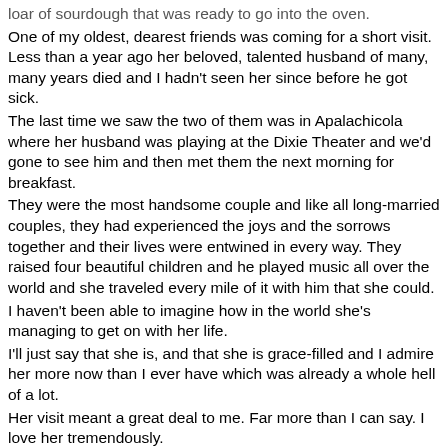loar of sourdough that was ready to go into the oven.
One of my oldest, dearest friends was coming for a short visit. Less than a year ago her beloved, talented husband of many, many years died and I hadn't seen her since before he got sick.
The last time we saw the two of them was in Apalachicola where her husband was playing at the Dixie Theater and we'd gone to see him and then met them the next morning for breakfast.
They were the most handsome couple and like all long-married couples, they had experienced the joys and the sorrows together and their lives were entwined in every way. They raised four beautiful children and he played music all over the world and she traveled every mile of it with him that she could.
I haven't been able to imagine how in the world she's managing to get on with her life.
I'll just say that she is, and that she is grace-filled and I admire her more now than I ever have which was already a whole hell of a lot.
Her visit meant a great deal to me. Far more than I can say. I love her tremendously.